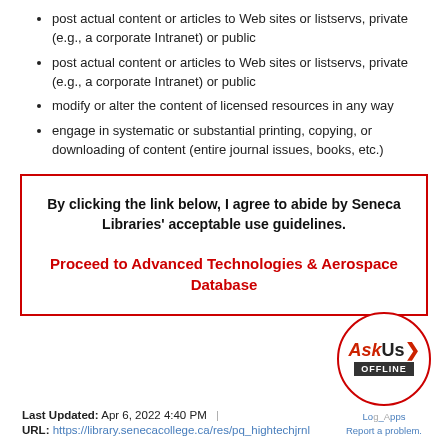post actual content or articles to Web sites or listservs, private (e.g., a corporate Intranet) or public
modify or alter the content of licensed resources in any way
engage in systematic or substantial printing, copying, or downloading of content (entire journal issues, books, etc.)
By clicking the link below, I agree to abide by Seneca Libraries' acceptable use guidelines.
Proceed to Advanced Technologies & Aerospace Database
Last Updated: Apr 6, 2022 4:40 PM | URL: https://library.senecacollege.ca/res/pq_hightechjrnl
[Figure (other): AskUs OFFLINE chat widget circle logo with links: Login, Apps, Report a problem.]